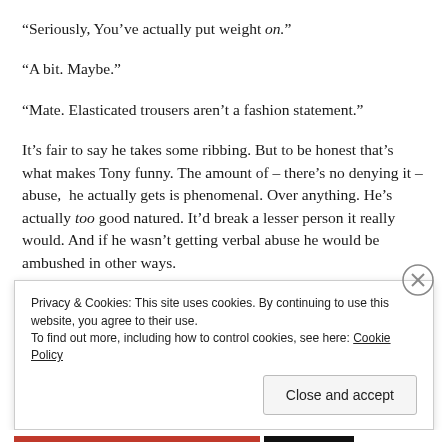“Seriously, You’ve actually put weight on.”
“A bit. Maybe.”
“Mate. Elasticated trousers aren’t a fashion statement.”
It’s fair to say he takes some ribbing. But to be honest that’s what makes Tony funny. The amount of – there’s no denying it – abuse,  he actually gets is phenomenal. Over anything. He’s actually too good natured. It’d break a lesser person it really would. And if he wasn’t getting verbal abuse he would be ambushed in other ways.
Privacy & Cookies: This site uses cookies. By continuing to use this website, you agree to their use.
To find out more, including how to control cookies, see here: Cookie Policy
Close and accept